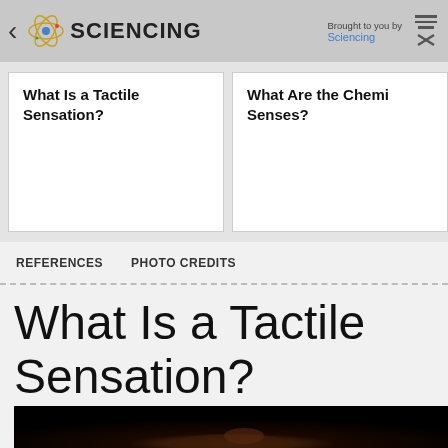SCIENCING | Brought to you by Sciencing
What Is a Tactile Sensation?
What Are the Chemi Senses?
REFERENCES
PHOTO CREDITS
What Is a Tactile Sensation?
[Figure (photo): Dark photo of a hand holding a glowing blue object against a black background]